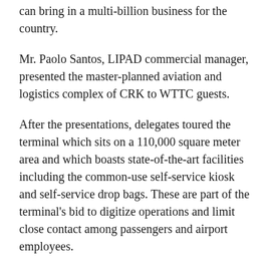can bring in a multi-billion business for the country.
Mr. Paolo Santos, LIPAD commercial manager, presented the master-planned aviation and logistics complex of CRK to WTTC guests.
After the presentations, delegates toured the terminal which sits on a 110,000 square meter area and which boasts state-of-the-art facilities including the common-use self-service kiosk and self-service drop bags. These are part of the terminal's bid to digitize operations and limit close contact among passengers and airport employees.
Guests were also briefed on the terminal's “intelligent” Advanced Visual Docking Guidance System, which allows pilots to park aircraft precisely and safely even in adverse weather conditions, using advanced laser